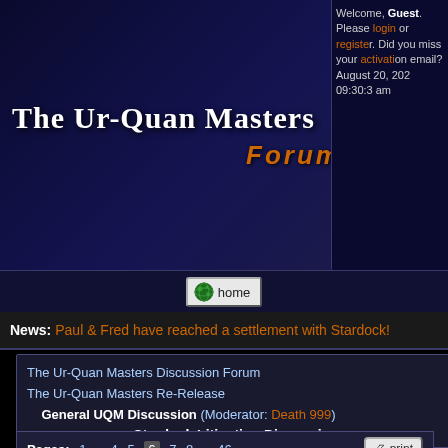[Figure (screenshot): The Ur-Quan Masters forum banner with alien figure and orange FORUM text on dark blue background]
Welcome, Guest. Please login or register. Did you miss your activation email? August 20, 2020, 09:30:3 am
[Figure (illustration): Home navigation button with globe icon]
News: Paul & Fred have reached a settlement with Stardock!
The Ur-Quan Masters Discussion Forum
The Ur-Quan Masters Re-Release
General UQM Discussion (Moderator: Death 999)
Stardock Litigation Discussion
« previous next »
Pages: 1 ... 4 5 [6] 7 8 ... 46
Author  Topic: Stardock Litigation Discussion  (Read 108366 times)